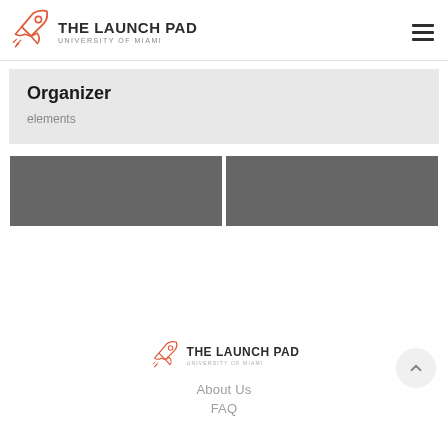THE LAUNCH PAD UNIVERSITY OF MIAMI
Organizer
elements
[Figure (photo): Two gray placeholder image boxes side by side]
[Figure (logo): The Launch Pad University of Miami footer logo]
About Us
FAQ